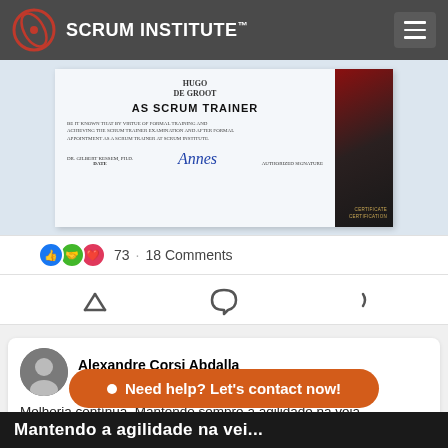SCRUM INSTITUTE™
[Figure (photo): A Scrum Institute certificate showing 'AS SCRUM TRAINER' for De Groot with authorized signature and certificate number]
73 · 18 Comments
[Figure (other): Social action icons row (like, comment, share)]
Alexandre Corsi Abdalla
3y

Melhoria contínua. Mantendo sempre a agilidade na veia.
Thank...
• Need help? Let's contact now!
Mantendo a agilidade na vei...